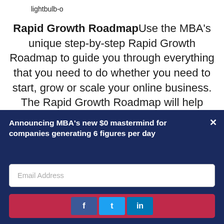lightbulb-o
Rapid Growth RoadmapUse the MBA's unique step-by-step Rapid Growth Roadmap to guide you through everything that you need to do whether you need to start, grow or scale your online business. The Rapid Growth Roadmap will help keep you from taking the wrong turn and spinning your wheels on things that aren't a good
Announcing MBA's new $0 mastermind for companies generating 6 figures per day
Email Address
[Figure (infographic): Social sharing buttons: Facebook (f), Twitter (bird), LinkedIn (in) on a crimson/red background bar]